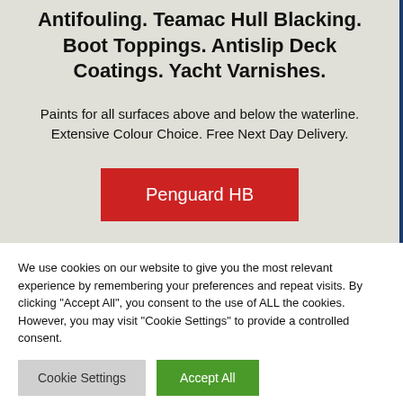Antifouling. Teamac Hull Blacking. Boot Toppings. Antislip Deck Coatings. Yacht Varnishes.
Paints for all surfaces above and below the waterline. Extensive Colour Choice. Free Next Day Delivery.
Penguard HB
We use cookies on our website to give you the most relevant experience by remembering your preferences and repeat visits. By clicking "Accept All", you consent to the use of ALL the cookies. However, you may visit "Cookie Settings" to provide a controlled consent.
Cookie Settings
Accept All